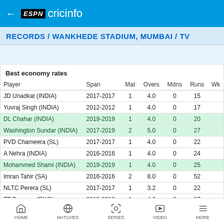ESPN cricinfo
RECORDS / WANKHEDE STADIUM, MUMBAI / TV
Best economy rates
| Player | Span | Mat | Overs | Mdns | Runs | Wk |
| --- | --- | --- | --- | --- | --- | --- |
| JD Unadkat (INDIA) | 2017-2017 | 1 | 4.0 | 0 | 15 |  |
| Yuvraj Singh (INDIA) | 2012-2012 | 1 | 4.0 | 0 | 17 |  |
| DL Chahar (INDIA) | 2019-2019 | 1 | 4.0 | 0 | 20 |  |
| Washington Sundar (INDIA) | 2017-2019 | 2 | 5.0 | 0 | 27 |  |
| PVD Chameera (SL) | 2017-2017 | 1 | 4.0 | 0 | 22 |  |
| A Nehra (INDIA) | 2016-2016 | 1 | 4.0 | 0 | 24 |  |
| Mohammed Shami (INDIA) | 2019-2019 | 1 | 4.0 | 0 | 25 |  |
| Imran Tahir (SA) | 2016-2016 | 2 | 8.0 | 0 | 52 |  |
| NLTC Perera (SL) | 2017-2017 | 1 | 3.2 | 0 | 22 |  |
| TT Bresnan (ENG) | 2012-2012 | 1 | 4.0 | 0 | 27 |  |
| A Dananjaya (SL) | 2017-2017 | 1 | 4.0 | 0 | 27 |  |
HOME   MATCHES   SERIES   VIDEO   MORE